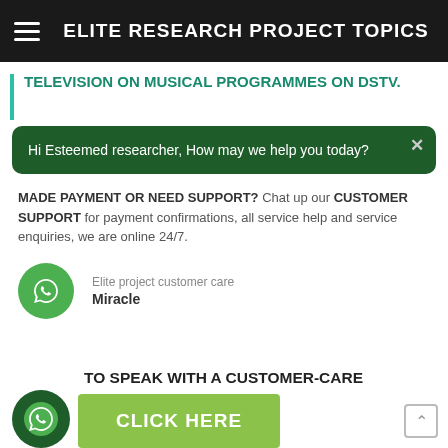ELITE RESEARCH PROJECT TOPICS
TELEVISION ON MUSICAL PROGRAMMES ON DSTV.
Hi Esteemed researcher, How may we help you today?
MADE PAYMENT OR NEED SUPPORT? Chat up our CUSTOMER SUPPORT for payment confirmations, all service help and service enquiries, we are online 24/7.
Elite project customer care
Miracle
TO SPEAK WITH A CUSTOMER-CARE
CLICK HERE